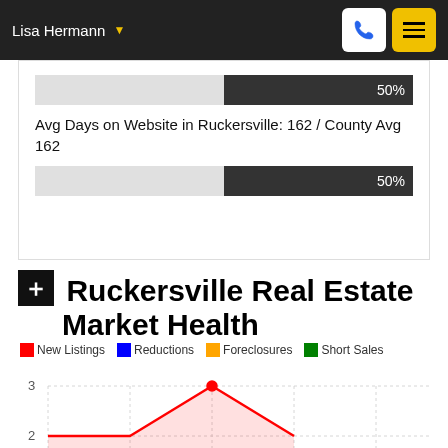Lisa Hermann
[Figure (infographic): Horizontal bar showing 50% fill for Avg Days on Website in Ruckersville]
Avg Days on Website in Ruckersville: 162 / County Avg 162
[Figure (infographic): Horizontal bar showing 50% fill]
Ruckersville Real Estate Market Health
New Listings  Reductions  Foreclosures  Short Sales
[Figure (line-chart): Line chart showing new listings trend with y-axis values 2 and 3 visible, peak around 3]